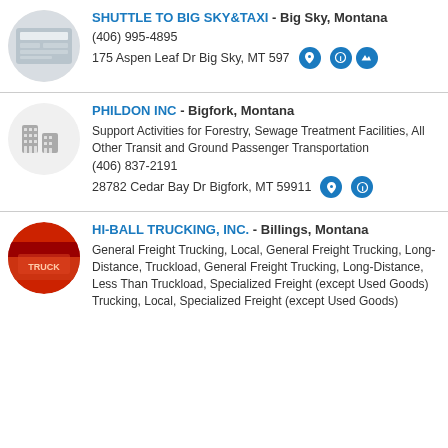SHUTTLE TO BIG SKY&TAXI - Big Sky, Montana
(406) 995-4895
175 Aspen Leaf Dr Big Sky, MT 597...
PHILDON INC - Bigfork, Montana
Support Activities for Forestry, Sewage Treatment Facilities, All Other Transit and Ground Passenger Transportation
(406) 837-2191
28782 Cedar Bay Dr Bigfork, MT 59911
HI-BALL TRUCKING, INC. - Billings, Montana
General Freight Trucking, Local, General Freight Trucking, Long-Distance, Truckload, General Freight Trucking, Long-Distance, Less Than Truckload, Specialized Freight (except Used Goods) Trucking, Local, Specialized Freight (except Used Goods)...